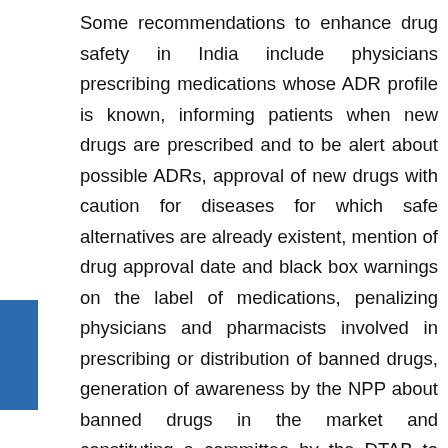Some recommendations to enhance drug safety in India include physicians prescribing medications whose ADR profile is known, informing patients when new drugs are prescribed and to be alert about possible ADRs, approval of new drugs with caution for diseases for which safe alternatives are already existent, mention of drug approval date and black box warnings on the label of medications, penalizing physicians and pharmacists involved in prescribing or distribution of banned drugs, generation of awareness by the NPP about banned drugs in the market and constituting a committee by the DTAB to regulate banned drugs and medications with severe ADRs. The issue of circulation of banned drugs in the Indian market is severe and public awareness about